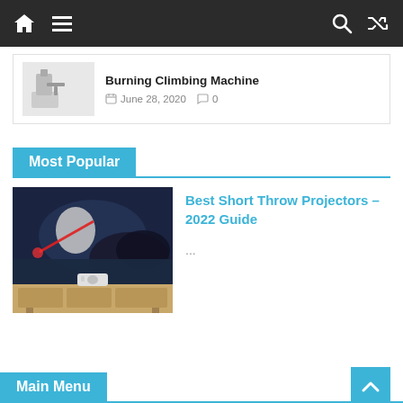Navigation bar with home, menu, search, and shuffle icons
Burning Climbing Machine — June 28, 2020 — 0 comments
Most Popular
[Figure (photo): Short throw projector displaying a sci-fi movie scene with a koala-like creature, projector on a wooden cabinet]
Best Short Throw Projectors – 2022 Guide
...
Main Menu